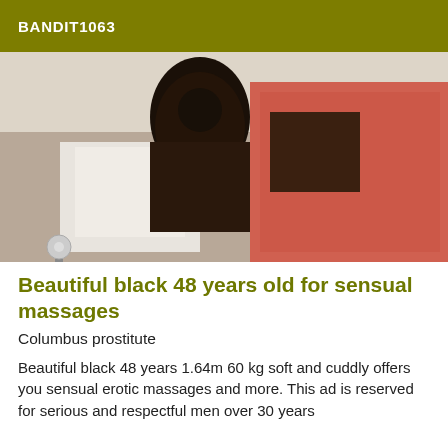BANDIT1063
[Figure (photo): Indoor photo showing a person in a bedroom/bathroom setting with pink bedding and a window visible]
Beautiful black 48 years old for sensual massages
Columbus prostitute
Beautiful black 48 years 1.64m 60 kg soft and cuddly offers you sensual erotic massages and more. This ad is reserved for serious and respectful men over 30 years